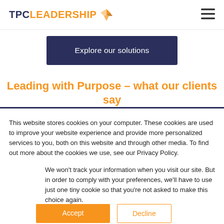TPC LEADERSHIP [logo with icon] [hamburger menu]
[Figure (other): Explore our solutions button — dark navy rectangular button with white text]
Leading with Purpose – what our clients say
This website stores cookies on your computer. These cookies are used to improve your website experience and provide more personalized services to you, both on this website and through other media. To find out more about the cookies we use, see our Privacy Policy.
We won't track your information when you visit our site. But in order to comply with your preferences, we'll have to use just one tiny cookie so that you're not asked to make this choice again.
Accept | Decline